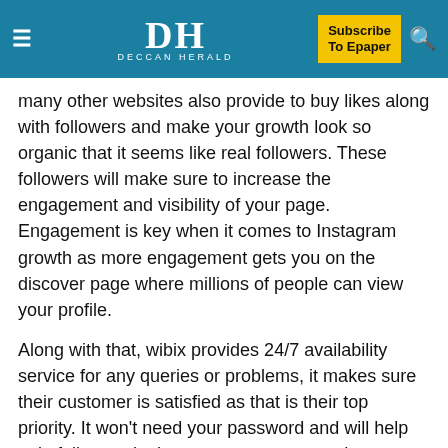DH DECCAN HERALD | Subscribe To Epaper
many other websites also provide to buy likes along with followers and make your growth look so organic that it seems like real followers. These followers will make sure to increase the engagement and visibility of your page. Engagement is key when it comes to Instagram growth as more engagement gets you on the discover page where millions of people can view your profile.
Along with that, wibix provides 24/7 availability service for any queries or problems, it makes sure their customer is satisfied as that is their top priority. It won't need your password and will help gain followers by just your username as they care about customer security a lot.
3.    Instadean.com
Instadean is the best website when it comes to buying real followers and that too they only care for real organic growth...